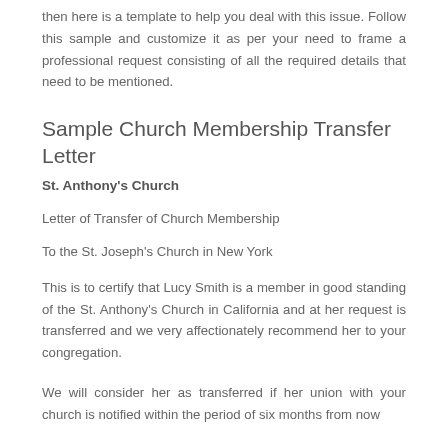then here is a template to help you deal with this issue. Follow this sample and customize it as per your need to frame a professional request consisting of all the required details that need to be mentioned.
Sample Church Membership Transfer Letter
St. Anthony's Church
Letter of Transfer of Church Membership
To the St. Joseph's Church in New York
This is to certify that Lucy Smith is a member in good standing of the St. Anthony's Church in California and at her request is transferred and we very affectionately recommend her to your congregation.
We will consider her as transferred if her union with your church is notified within the period of six months from now.